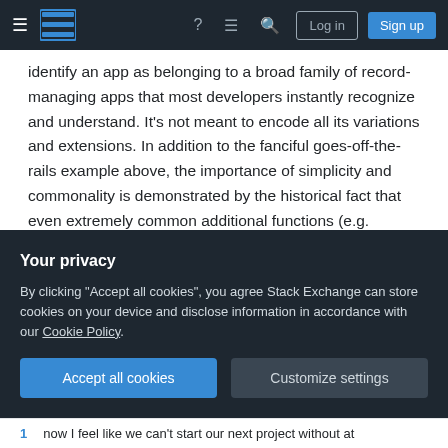Stack Exchange navigation bar with Log in and Sign up buttons
identify an app as belonging to a broad family of record-managing apps that most developers instantly recognize and understand. It's not meant to encode all its variations and extensions. In addition to the fanciful goes-off-the-rails example above, the importance of simplicity and commonality is demonstrated by the historical fact that even extremely common additional functions (e.g. search) have not made it into the common acronym.
Share
edited Jun 22, 2016 at 13:47
Your privacy
By clicking "Accept all cookies", you agree Stack Exchange can store cookies on your device and disclose information in accordance with our Cookie Policy.
Accept all cookies
Customize settings
now I feel like we can't start our next project without at